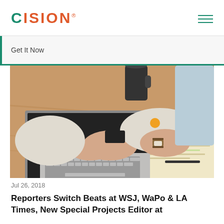CISION
Get It Now
[Figure (photo): Person typing on a laptop at a wooden desk, wearing a light sweater and a watch, with papers and a coffee cup nearby.]
Jul 26, 2018
Reporters Switch Beats at WSJ, WaPo & LA Times, New Special Projects Editor at